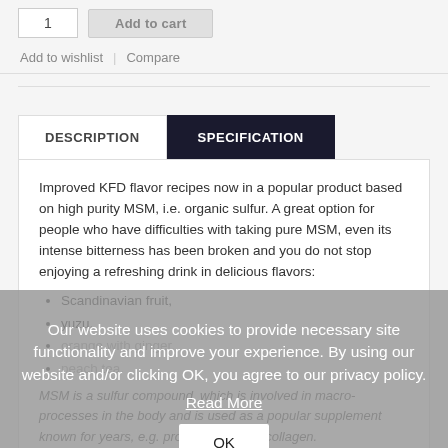Add to wishlist | Compare
DESCRIPTION
SPECIFICATION
Improved KFD flavor recipes now in a popular product based on high purity MSM, i.e. organic sulfur. A great option for people who have difficulties with taking pure MSM, even its intense bitterness has been broken and you do not stop enjoying a refreshing drink in delicious flavors:
Scandinavian fruit,
yuzu,
orange with ginger,
peach tea.
MSM is a sulfur compound, which is involved in many processes in the body and is used as a popular supplement known for years, e.g. products such as collagen.
NOTE: MSM may show hygroscopic
Our website uses cookies to provide necessary site functionality and improve your experience. By using our website and/or clicking OK, you agree to our privacy policy.
Read More
OK